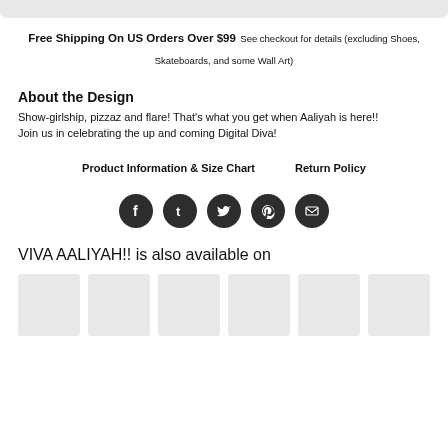[Figure (other): Gray top bar area (product image area, cropped)]
Free Shipping On US Orders Over $99 See checkout for details (excluding Shoes, Skateboards, and some Wall Art)
About the Design
Show-girlship, pizzaz and flare! That's what you get when Aaliyah is here!! Join us in celebrating the up and coming Digital Diva!
Product Information & Size Chart    Return Policy
[Figure (other): Social media share icons: Facebook, Tumblr, Twitter, Pinterest, Email]
VIVA AALIYAH!! is also available on
[Figure (other): Row of product thumbnail images (gray placeholders)]